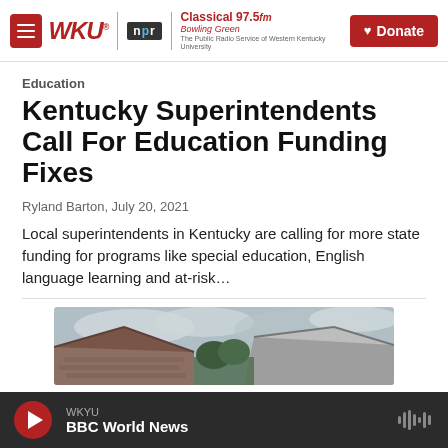WKU NPR | Classical 97.5 fm Bowling Green — The Public Radio Service of Western Kentucky University | Donate
Education
Kentucky Superintendents Call For Education Funding Fixes
Ryland Barton, July 20, 2021
Local superintendents in Kentucky are calling for more state funding for programs like special education, English language learning and at-risk…
[Figure (photo): Exterior photo showing rooftops of brick buildings against a cloudy sky]
WKYU BBC World News